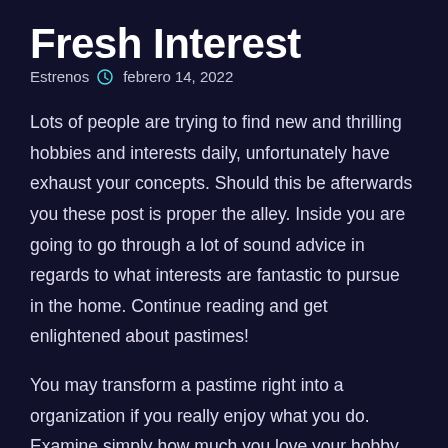Fresh Interest
Estrenos  febrero 14, 2022
Lots of people are trying to find new and thrilling hobbies and interests daily, unfortunately have exhaust your concepts. Should this be afterwards you these post is proper the alley. Inside you are going to go through a lot of sound advice in regards to what interests are fantastic to pursue in the home. Continue reading and get enlightened about pastimes!
You may transform a pastime right into a organization if you really enjoy what you do. Examine simply how much you love your hobby and after that see if you can enhance that into a